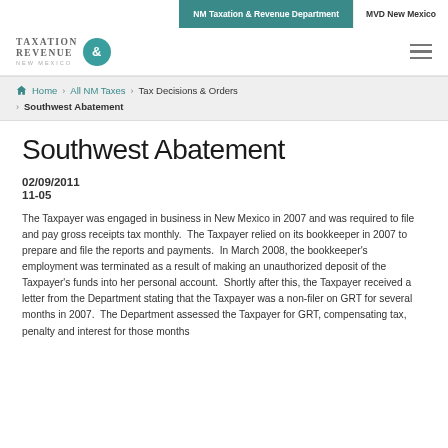NM Taxation & Revenue Department | MVD New Mexico
[Figure (logo): Taxation & Revenue New Mexico logo with teal circle containing ampersand]
Home > All NM Taxes > Tax Decisions & Orders > Southwest Abatement
Southwest Abatement
02/09/2011
11-05
The Taxpayer was engaged in business in New Mexico in 2007 and was required to file and pay gross receipts tax monthly.  The Taxpayer relied on its bookkeeper in 2007 to prepare and file the reports and payments.  In March 2008, the bookkeeper's employment was terminated as a result of making an unauthorized deposit of the Taxpayer's funds into her personal account.  Shortly after this, the Taxpayer received a letter from the Department stating that the Taxpayer was a non-filer on GRT for several months in 2007.  The Department assessed the Taxpayer for GRT, compensating tax, penalty and interest for those months